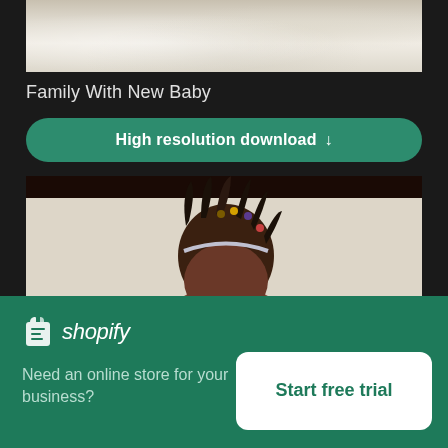[Figure (photo): Close-up photo of fluffy white/cream textured fabric or blanket]
Family With New Baby
[Figure (other): Green rounded button with text 'High resolution download' and a download arrow icon]
[Figure (photo): Photo of a young Black girl with braids looking down at a baby she is holding]
[Figure (infographic): Shopify advertisement banner. Shopify logo (bag icon + italic wordmark). Text: 'Need an online store for your business?' Button: 'Start free trial']